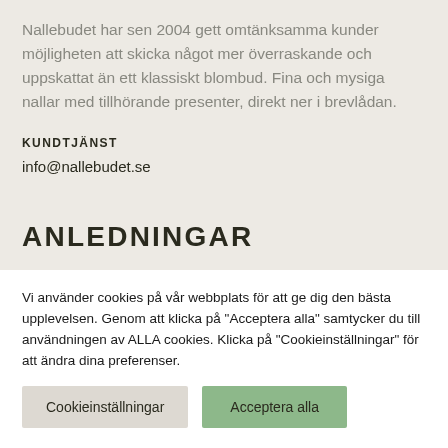Nallebudet har sen 2004 gett omtänksamma kunder möjligheten att skicka något mer överraskande och uppskattat än ett klassiskt blombud. Fina och mysiga nallar med tillhörande presenter, direkt ner i brevlådan.
KUNDTJÄNST
info@nallebudet.se
ANLEDNINGAR
GRATULATIONER
Vi använder cookies på vår webbplats för att ge dig den bästa upplevelsen. Genom att klicka på "Acceptera alla" samtycker du till användningen av ALLA cookies. Klicka på "Cookieinställningar" för att ändra dina preferenser.
Cookieinställningar
Acceptera alla